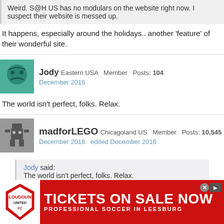Weird.  S@H US has no modulars on the website right now.  I suspect their website is messed up.
It happens, especially around the holidays.. another 'feature' of their wonderful site.
Jody  Eastern USA   Member   Posts: 104
December 2016
The world isn't perfect, folks. Relax.
madforLEGO  Chicagoland US   Member   Posts: 10,545
December 2016   edited December 2016
Jody said:
The world isn't perfect, folks. Relax.
We get that, but you have to understand this is not something that has only happened once, but many times.. BEFORE their 'upgrades' to their site as
[Figure (infographic): Red advertisement banner for Loudoun soccer tickets. Logo on left, text 'TICKETS ON SALE NOW' in large white bold letters, subtitle 'PROFESSIONAL SOCCER IN LEESBURG']